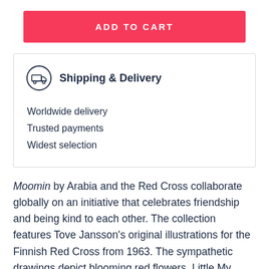ADD TO CART
Shipping & Delivery
Worldwide delivery
Trusted payments
Widest selection
Moomin by Arabia and the Red Cross collaborate globally on an initiative that celebrates friendship and being kind to each other. The collection features Tove Jansson's original illustrations for the Finnish Red Cross from 1963. The sympathetic drawings depict blooming red flowers, Little My holding a